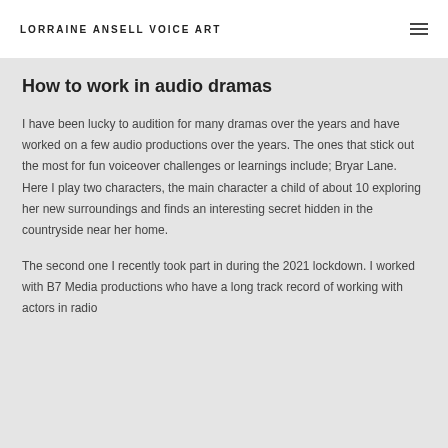LORRAINE ANSELL VOICE ART
How to work in audio dramas
I have been lucky to audition for many dramas over the years and have worked on a few audio productions over the years. The ones that stick out the most for fun voiceover challenges or learnings include; Bryar Lane. Here I play two characters, the main character a child of about 10 exploring her new surroundings and finds an interesting secret hidden in the countryside near her home.
The second one I recently took part in during the 2021 lockdown. I worked with B7 Media productions who have a long track record of working with actors in radio